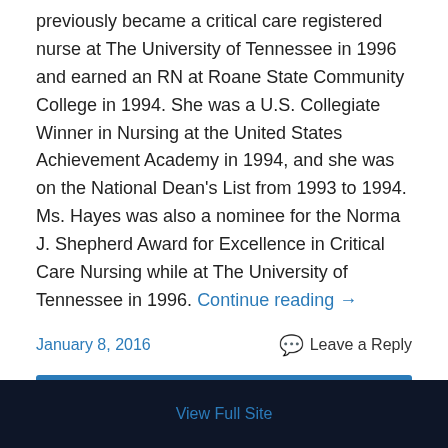previously became a critical care registered nurse at The University of Tennessee in 1996 and earned an RN at Roane State Community College in 1994. She was a U.S. Collegiate Winner in Nursing at the United States Achievement Academy in 1994, and she was on the National Dean's List from 1993 to 1994. Ms. Hayes was also a nominee for the Norma J. Shepherd Award for Excellence in Critical Care Nursing while at The University of Tennessee in 1996. Continue reading →
January 8, 2016
Leave a Reply
Older posts
View Full Site